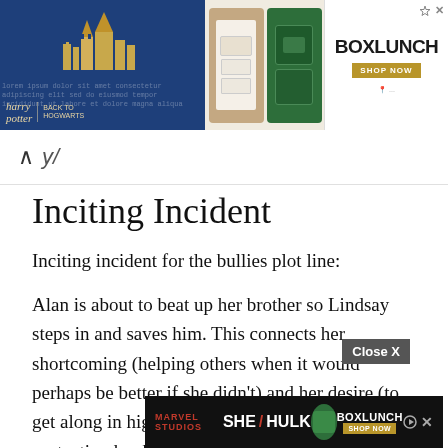[Figure (screenshot): Advertisement banner at top: Harry Potter themed ad on left with dark blue background showing Hogwarts castle, product images in middle, BoxLunch logo and shop now button on right]
^
Inciting Incident
Inciting incident for the bullies plot line:
Alan is about to beat up her brother so Lindsay steps in and saves him. This connects her shortcoming (helping others when it would perhaps be better if she didn't) and her desire (to get along in high school, which includes protecting her brother.) Lindsay has just got her b... into the w... threatens to beat Sam and his buddies up after
[Figure (screenshot): She-Hulk advertisement banner at bottom with dark background, Close X button overlay]
[Figure (screenshot): Close X button]